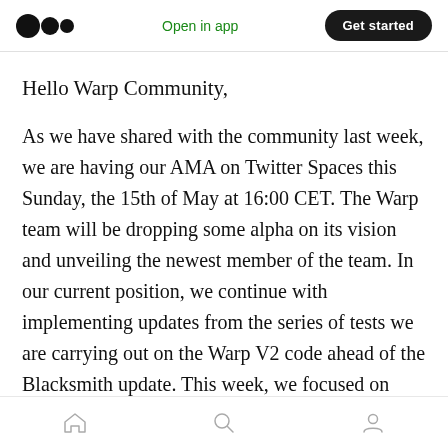Medium logo | Open in app | Get started
Hello Warp Community,
As we have shared with the community last week, we are having our AMA on Twitter Spaces this Sunday, the 15th of May at 16:00 CET. The Warp team will be dropping some alpha on its vision and unveiling the newest member of the team. In our current position, we continue with implementing updates from the series of tests we are carrying out on the Warp V2 code ahead of the Blacksmith update. This week, we focused on some UI fixes and have the Warp V2 frontend
Home | Search | Profile